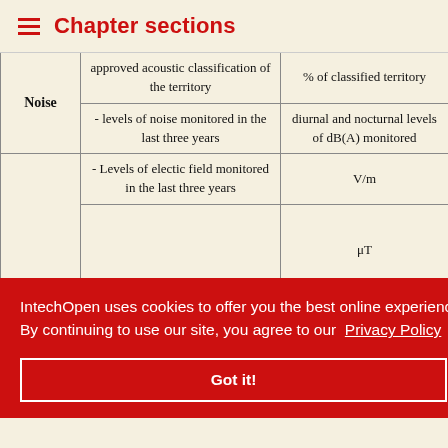Chapter sections
|  |  |  |
| --- | --- | --- |
| Noise | approved acoustic classification of the territory | % of classified territory |
| Noise | - levels of noise monitored in the last three years | diurnal and nocturnal levels of dB(A) monitored |
|  | - Levels of electic field monitored in the last three years | V/m |
|  |  | μT |
|  | stations instaned in each | N for each year |
IntechOpen uses cookies to offer you the best online experience. By continuing to use our site, you agree to our Privacy Policy
Got it!